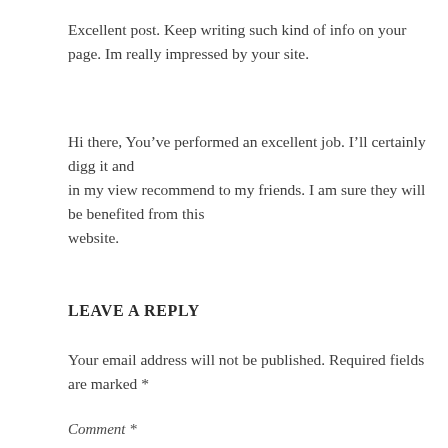Excellent post. Keep writing such kind of info on your page. Im really impressed by your site.
Hi there, You’ve performed an excellent job. I’ll certainly digg it and in my view recommend to my friends. I am sure they will be benefited from this website.
Leave a Reply
Your email address will not be published. Required fields are marked *
Comment *